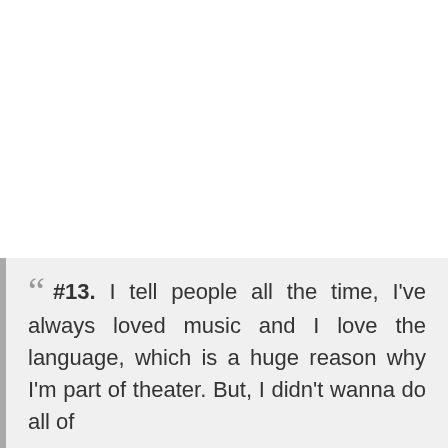#13. I tell people all the time, I've always loved music and I love the language, which is a huge reason why I'm part of theater. But, I didn't wanna do all of